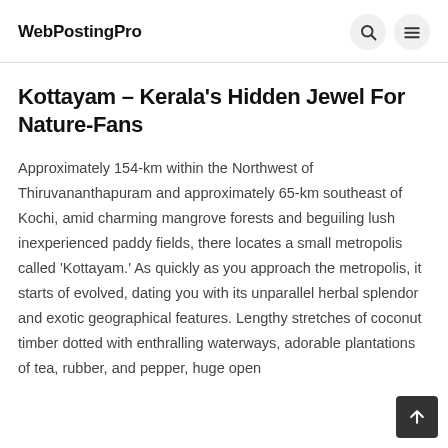WebPostingPro
Kottayam – Kerala's Hidden Jewel For Nature-Fans
Approximately 154-km within the Northwest of Thiruvananthapuram and approximately 65-km southeast of Kochi, amid charming mangrove forests and beguiling lush inexperienced paddy fields, there locates a small metropolis called 'Kottayam.' As quickly as you approach the metropolis, it starts of evolved, dating you with its unparallel herbal splendor and exotic geographical features. Lengthy stretches of coconut timber dotted with enthralling waterways, adorable plantations of tea, rubber, and pepper, huge open